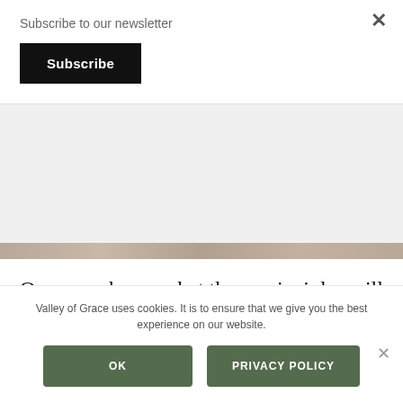Subscribe to our newsletter
[Figure (screenshot): Black Subscribe button]
[Figure (photo): Partial image strip visible at top of article area]
Once you know what these principles will look like, then you can establish boundaries around these principles for yourself and others. For years you have conditioned yourself to placing yourself at the bottom of the list. After
Valley of Grace uses cookies. It is to ensure that we give you the best experience on our website.
OK
PRIVACY POLICY